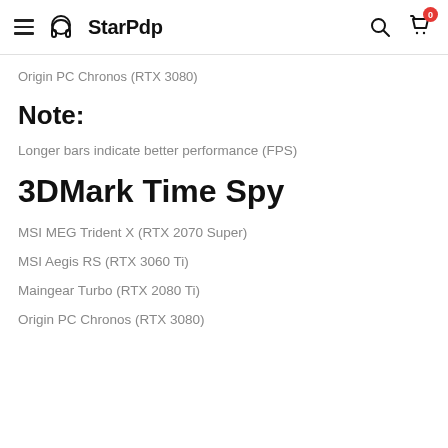StarPdp
Origin PC Chronos (RTX 3080)
Note:
Longer bars indicate better performance (FPS)
3DMark Time Spy
MSI MEG Trident X (RTX 2070 Super)
MSI Aegis RS (RTX 3060 Ti)
Maingear Turbo (RTX 2080 Ti)
Origin PC Chronos (RTX 3080)